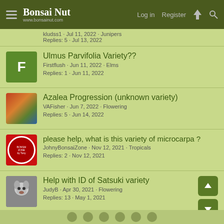Bonsai Nut - www.bonsainut.com - Log in - Register
kludss1 · Jul 11, 2022 · Junipers
Replies: 5 · Jul 13, 2022
Ulmus Parvifolia Variety??
Firstflush · Jun 11, 2022 · Elms
Replies: 1 · Jun 11, 2022
Azalea Progression (unknown variety)
VAFisher · Jun 7, 2022 · Flowering
Replies: 5 · Jun 14, 2022
please help, what is this variety of microcarpa ?
JohnyBonsaiZone · Nov 12, 2021 · Tropicals
Replies: 2 · Nov 12, 2021
Help with ID of Satsuki variety
JudyB · Apr 30, 2021 · Flowering
Replies: 13 · May 1, 2021
Social media icons footer